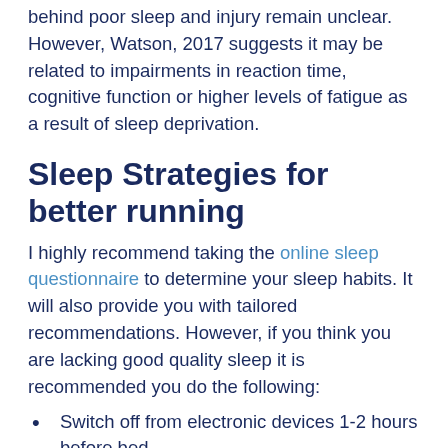behind poor sleep and injury remain unclear. However, Watson, 2017 suggests it may be related to impairments in reaction time, cognitive function or higher levels of fatigue as a result of sleep deprivation.
Sleep Strategies for better running
I highly recommend taking the online sleep questionnaire to determine your sleep habits. It will also provide you with tailored recommendations. However, if you think you are lacking good quality sleep it is recommended you do the following:
Switch off from electronic devices 1-2 hours before bed.
Avoid alcohol or big meals 1-2 hours before bed.